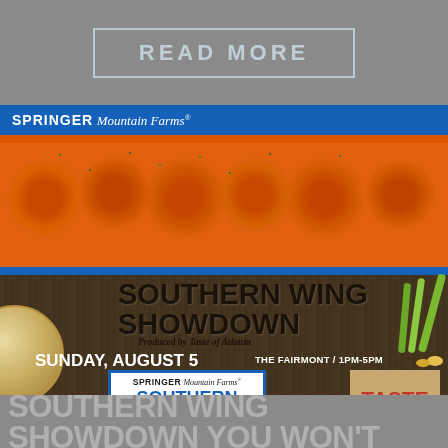READ MORE
[Figure (photo): Springer Mountain Farms banner advertisement for Southern Wing Showdown event. Shows glazed chicken wings, event title, date Sunday August 5, The Fairmont 1PM-5PM, produced by Taste of Atlanta, with logo badge and website southernwingshowdown.com]
SOUTHERN WING SHOWDOWN YOU WON'T